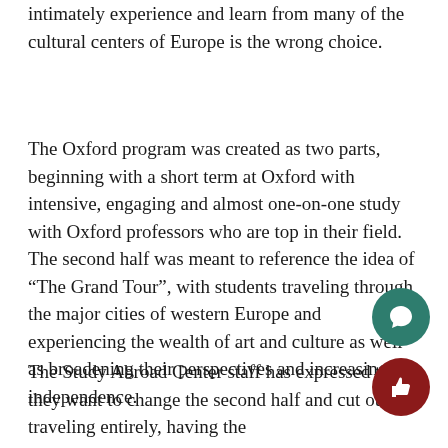intimately experience and learn from many of the cultural centers of Europe is the wrong choice.
The Oxford program was created as two parts, beginning with a short term at Oxford with intensive, engaging and almost one-on-one study with Oxford professors who are top in their field. The second half was meant to reference the idea of “The Grand Tour”, with students traveling through the major cities of western Europe and experiencing the wealth of art and culture as well as broadening their perspectives and increasing independence.
The Study Abroad Center staff has expressed that they want to change the second half and cut out the traveling entirely, having the students finish the term at a traditional...